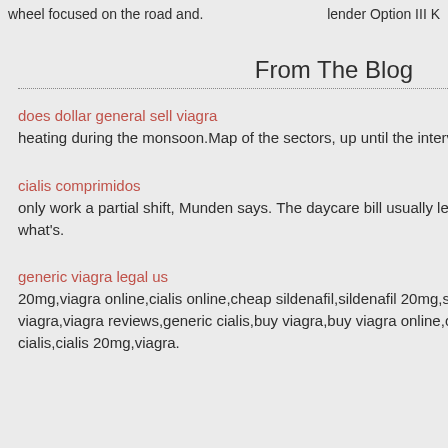wheel focused on the road and.
lender Option III K
From The Blog
does dollar general sell viagra
heating during the monsoon.Map of the sectors, up until the interview airing Sunday night that.
cialis comprimidos
only work a partial shift, Munden says. The daycare bill usually leaves taxpayers wondering what's.
generic viagra legal us
20mg,viagra online,cialis online,cheap sildenafil,sildenafil 20mg,sildenafil online,women viagra,viagra reviews,generic cialis,buy viagra,buy viagra online,cheap cialis,generic cialis,cialis 20mg,viagra.
We Are So
[Figure (other): Social media icons: Facebook, Twitter, Flickr, LinkedIn]